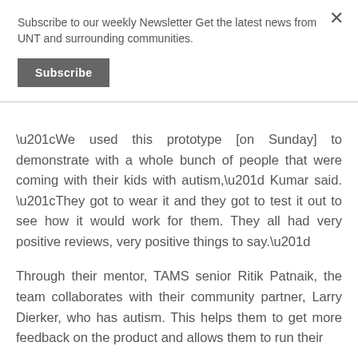Subscribe to our weekly Newsletter Get the latest news from UNT and surrounding communities.
Subscribe
“We used this prototype [on Sunday] to demonstrate with a whole bunch of people that were coming with their kids with autism,” Kumar said. “They got to wear it and they got to test it out to see how it would work for them. They all had very positive reviews, very positive things to say.”
Through their mentor, TAMS senior Ritik Patnaik, the team collaborates with their community partner, Larry Dierker, who has autism. This helps them to get more feedback on the product and allows them to run their